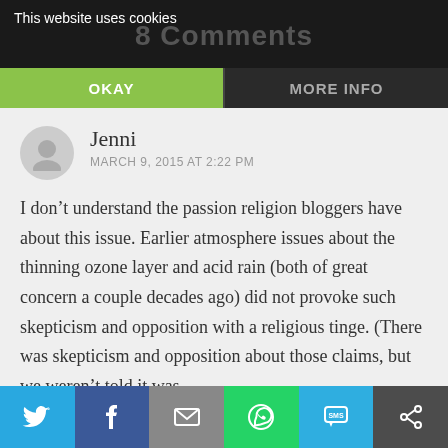This website uses cookies
8 Comments
OKAY
MORE INFO
Jenni
MARCH 9, 2015 AT 2:22 PM
I don’t understand the passion religion bloggers have about this issue. Earlier atmosphere issues about the thinning ozone layer and acid rain (both of great concern a couple decades ago) did not provoke such skepticism and opposition with a religious tinge. (There was skepticism and opposition about those claims, but we weren’t told it was
[Figure (infographic): Social sharing bar with Twitter, Facebook, Email, WhatsApp, SMS, and other share buttons]